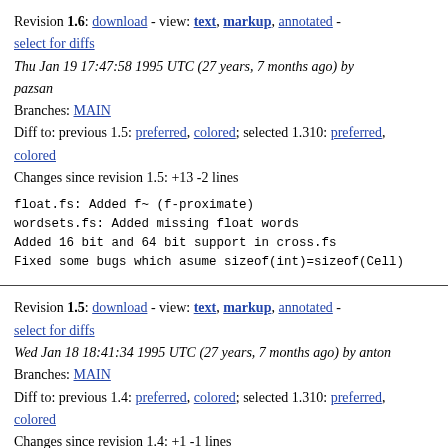Revision 1.6: download - view: text, markup, annotated - select for diffs
Thu Jan 19 17:47:58 1995 UTC (27 years, 7 months ago) by pazsan
Branches: MAIN
Diff to: previous 1.5: preferred, colored; selected 1.310: preferred, colored
Changes since revision 1.5: +13 -2 lines
float.fs: Added f~ (f-proximate)
wordsets.fs: Added missing float words
Added 16 bit and 64 bit support in cross.fs
Fixed some bugs which asume sizeof(int)=sizeof(Cell)
Revision 1.5: download - view: text, markup, annotated - select for diffs
Wed Jan 18 18:41:34 1995 UTC (27 years, 7 months ago) by anton
Branches: MAIN
Diff to: previous 1.4: preferred, colored; selected 1.310: preferred, colored
Changes since revision 1.4: +1 -1 lines
worked a bit on m68k.h and power.h
moved hyperbolic functions and falog to primitives